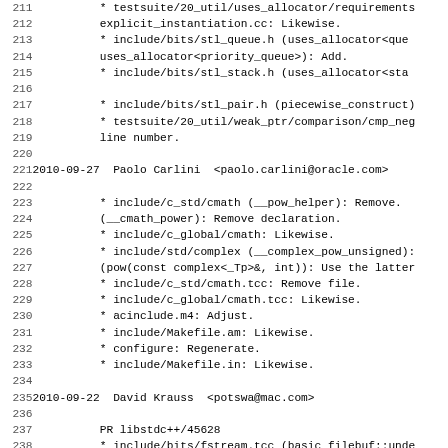Source code changelog / commit log entries (lines 211-242) showing file modifications in a software project (libstdc++)
211   * testsuite/20_util/uses_allocator/requirements...
212     explicit_instantiation.cc: Likewise.
213     * include/bits/stl_queue.h (uses_allocator<que...
214     uses_allocator<priority_queue>): Add.
215     * include/bits/stl_stack.h (uses_allocator<sta...
216
217     * include/bits/stl_pair.h (piecewise_construct)...
218     * testsuite/20_util/weak_ptr/comparison/cmp_neg...
219     line number.
220
221 2010-09-27  Paolo Carlini  <paolo.carlini@oracle.com>
222
223     * include/c_std/cmath (__pow_helper): Remove.
224     (__cmath_power): Remove declaration.
225     * include/c_global/cmath: Likewise.
226     * include/std/complex (__complex_pow_unsigned):...
227     (pow(const complex<_Tp>&, int)): Use the latter...
228     * include/c_std/cmath.tcc: Remove file.
229     * include/c_global/cmath.tcc: Likewise.
230     * acinclude.m4: Adjust.
231     * include/Makefile.am: Likewise.
232     * configure: Regenerate.
233     * include/Makefile.in: Likewise.
234
235 2010-09-22  David Krauss  <potswa@mac.com>
236
237     PR libstdc++/45628
238     * include/bits/fstream.tcc (basic_filebuf::unde...
239     transition to avoid modality requiring seekoff(...
240     (basic_filebuf::pbackfail): Likewise.
241     (basic_filebuf::overflow): Likewise.
242     (basic_filebuf::_M_seek): Avoid minor unnecessa...